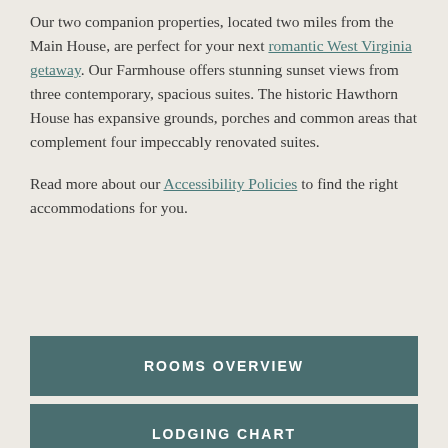Our two companion properties, located two miles from the Main House, are perfect for your next romantic West Virginia getaway. Our Farmhouse offers stunning sunset views from three contemporary, spacious suites. The historic Hawthorn House has expansive grounds, porches and common areas that complement four impeccably renovated suites.
Read more about our Accessibility Policies to find the right accommodations for you.
ROOMS OVERVIEW
LODGING CHART